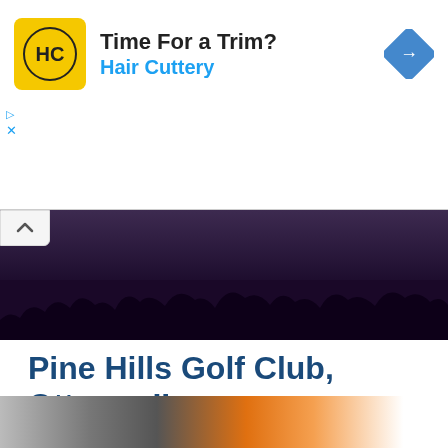[Figure (logo): Hair Cuttery advertisement banner with HC logo in yellow square, 'Time For a Trim?' headline, 'Hair Cuttery' brand in blue, and blue diamond navigation icon]
[Figure (photo): Collapsed dark image strip showing tree silhouettes against a dark purple/night sky background, with a collapse/chevron-up button on the left]
Pine Hills Golf Club, Ottawa, IL
Featured in The 10 Best Public Golf Courses in Illinois!
Pine Hills Golf Club is the finest nine-hole course in Illinois. This family-owned business is also one of the oldest and most visually appealing courses in the Illinois Valley. Golfers appreciate... Read More
[Figure (photo): Partial bottom image showing what appears to be a golf scene with orange and white colors]